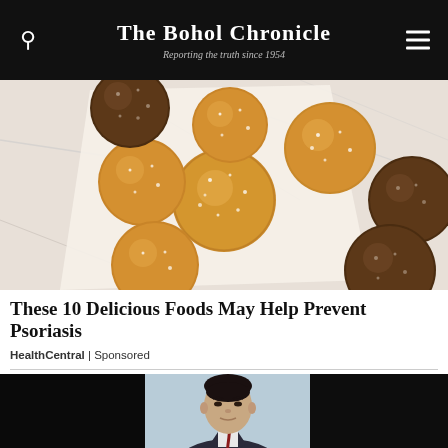The Bohol Chronicle — Reporting the truth since 1954
[Figure (photo): Photo of sugared donut holes/fried dough balls, some golden and some chocolate-coated, dusted with powdered sugar, arranged on white parchment paper on a marble surface.]
These 10 Delicious Foods May Help Prevent Psoriasis
HealthCentral | Sponsored
[Figure (photo): Photo of an Asian man in a suit, partially visible at the bottom of the page, against a light blue background with dark panels on left and right.]